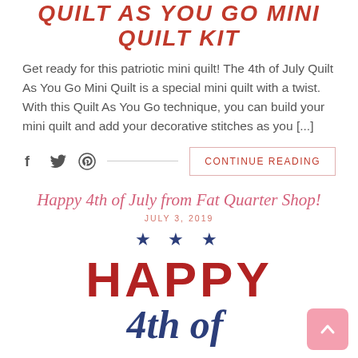QUILT AS YOU GO MINI QUILT KIT
Get ready for this patriotic mini quilt! The 4th of July Quilt As You Go Mini Quilt is a special mini quilt with a twist. With this Quilt As You Go technique, you can build your mini quilt and add your decorative stitches as you [...]
CONTINUE READING
Happy 4th of July from Fat Quarter Shop!
JULY 3, 2019
[Figure (illustration): Three blue star symbols in a row, followed by large bold red text reading HAPPY and italic navy blue script text reading 4th of]
[Figure (illustration): Pink rounded square scroll-to-top button with white upward arrow icon]